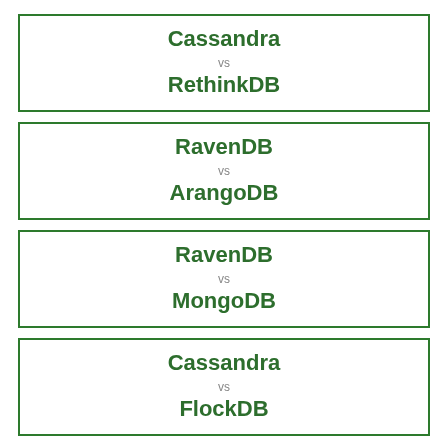Cassandra vs RethinkDB
RavenDB vs ArangoDB
RavenDB vs MongoDB
Cassandra vs FlockDB